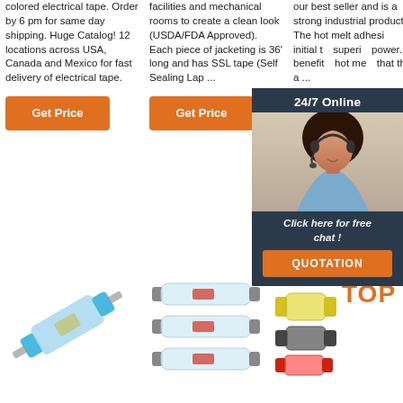colored electrical tape. Order by 6 pm for same day shipping. Huge Catalog! 12 locations across USA, Canada and Mexico for fast delivery of electrical tape.
facilities and mechanical rooms to create a clean look (USDA/FDA Approved). Each piece of jacketing is 36' long and has SSL tape (Self Sealing Lap ...
our best seller and is a strong industrial product. The hot melt adhesive which initial tack and superior holding power. The benefits of hot melt is that the ... a ...
[Figure (infographic): 24/7 Online chat widget with woman wearing headset, dark blue background, 'Click here for free chat!' text, and orange QUOTATION button]
Get Price
Get Price
Get
[Figure (photo): Blue heat shrink solder connector butt splice]
[Figure (photo): Clear heat shrink solder wire connectors, three pieces]
[Figure (photo): Assorted heat shrink solder connectors in yellow, blue, and red with TOP logo]